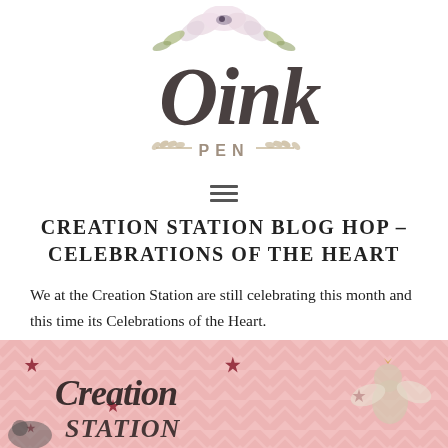[Figure (logo): Oink Pen blog logo with watercolor flowers and script/brush lettering]
[Figure (other): Hamburger menu icon (three horizontal lines)]
CREATION STATION BLOG HOP – CELEBRATIONS OF THE HEART
We at the Creation Station are still celebrating this month and this time its Celebrations of the Heart.
[Figure (illustration): Creation Station blog hop banner with pink chevron background, dark red stars, cherub/angel illustration on right, and cursive 'Creation Station' text]